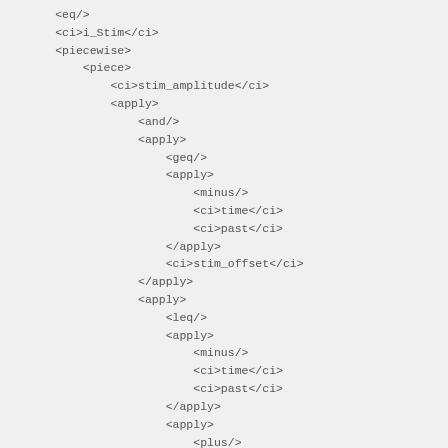XML/MathML code block showing: <eq/>, <ci>i_Stim</ci>, <piecewise>, <piece>, <ci>stim_amplitude</ci>, <apply>, <and/>, nested <apply> with <geq/>, <apply> with <minus/>, <ci>time</ci>, <ci>past</ci>, </apply>, <ci>stim_offset</ci>, </apply>, <apply> with <leq/>, <apply> with <minus/>, <ci>time</ci>, <ci>past</ci>, </apply>, <apply> with <plus/>, <ci>stim_offset</ci>, <ci>stim_duration</ci>, </apply>, </apply>, </apply>